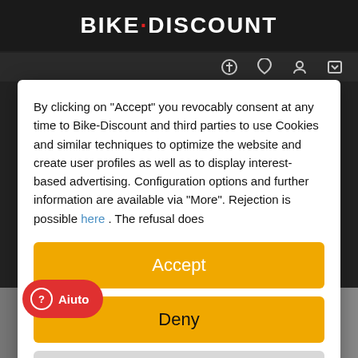BIKE-DISCOUNT
By clicking on "Accept" you revocably consent at any time to Bike-Discount and third parties to use Cookies and similar techniques to optimize the website and create user profiles as well as to display interest-based advertising. Configuration options and further information are available via "More". Rejection is possible here . The refusal does
Accept
Deny
more
Powered by usercentrics & TRUSTED SHOPS
Aiuto